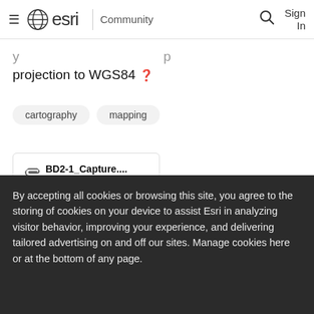esri Community | Sign In
projection to WGS84 ❓
cartography
mapping
BD2-1_Capture.... 423 KB
By accepting all cookies or browsing this site, you agree to the storing of cookies on your device to assist Esri in analyzing visitor behavior, improving your experience, and delivering tailored advertising on and off our sites. Manage cookies here or at the bottom of any page.